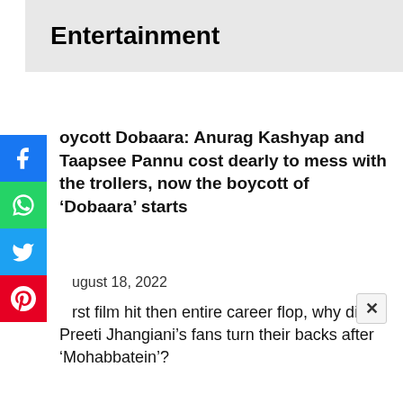Entertainment
Boycott Dobaara: Anurag Kashyap and Taapsee Pannu cost dearly to mess with the trollers, now the boycott of ‘Dobaara’ starts
August 18, 2022
First film hit then entire career flop, why did Preeti Jhangiani’s fans turn their backs after ‘Mohabbatein’?